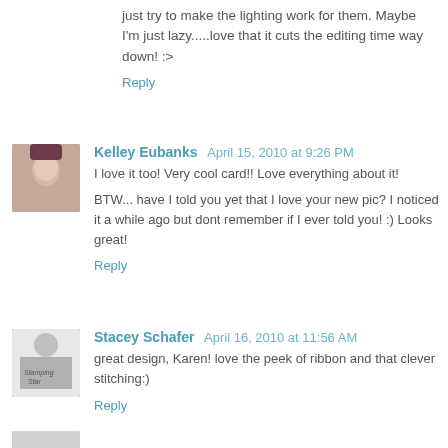just try to make the lighting work for them. Maybe I'm just lazy.....love that it cuts the editing time way down! :>
Reply
Kelley Eubanks  April 15, 2010 at 9:26 PM
I love it too! Very cool card!! Love everything about it!

BTW... have I told you yet that I love your new pic? I noticed it a while ago but dont remember if I ever told you! :) Looks great!
Reply
Stacey Schafer  April 16, 2010 at 11:56 AM
great design, Karen! love the peek of ribbon and that clever stitching:)
Reply